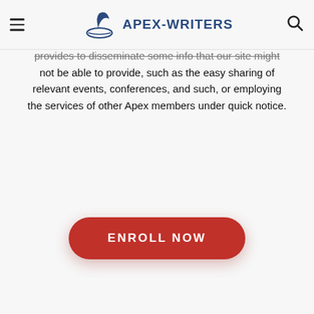APEX-WRITERS
provides to disseminate some info that our site might not be able to provide, such as the easy sharing of relevant events, conferences, and such, or employing the services of other Apex members under quick notice.
ENROLL NOW